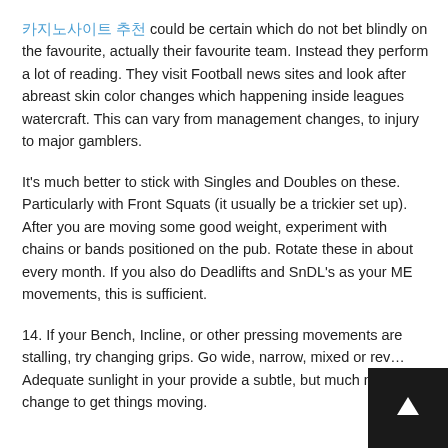카지노사이트 추천 could be certain which do not bet blindly on the favourite, actually their favourite team. Instead they perform a lot of reading. They visit Football news sites and look after abreast skin color changes which happening inside leagues watercraft. This can vary from management changes, to injury to major gamblers.
It's much better to stick with Singles and Doubles on these. Particularly with Front Squats (it usually be a trickier set up). After you are moving some good weight, experiment with chains or bands positioned on the pub. Rotate these in about every month. If you also do Deadlifts and SnDL's as your ME movements, this is sufficient.
14. If your Bench, Incline, or other pressing movements are stalling, try changing grips. Go wide, narrow, mixed or rev… Adequate sunlight in your provide a subtle, but much nee… change to get things moving.